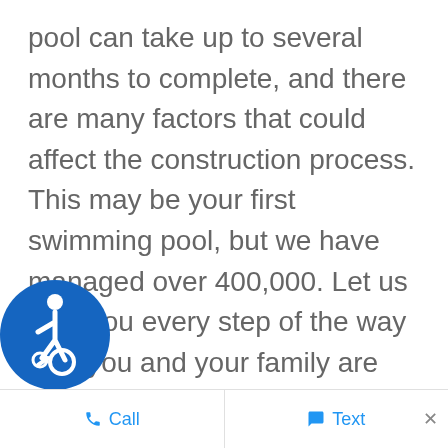pool can take up to several months to complete, and there are many factors that could affect the construction process. This may be your first swimming pool, but we have managed over 400,000. Let us help you every step of the way until you and your family are swimming in your sparkling new pool.
[Figure (illustration): Blue circular accessibility icon showing a person in a wheelchair]
Call   Text   ×